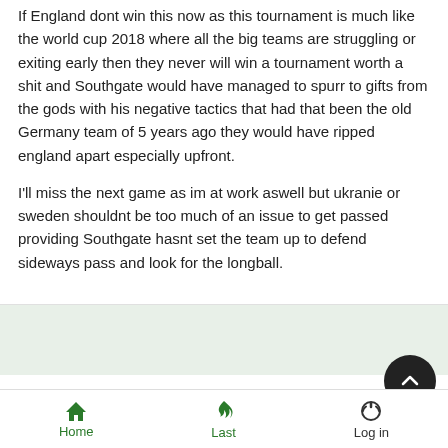If England dont win this now as this tournament is much like the world cup 2018 where all the big teams are struggling or exiting early then they never will win a tournament worth a shit and Southgate would have managed to spurr to gifts from the gods with his negative tactics that had that been the old Germany team of 5 years ago they would have ripped england apart especially upfront.

I'll miss the next game as im at work aswell but ukranie or sweden shouldnt be too much of an issue to get passed providing Southgate hasnt set the team up to defend sideways pass and look for the longball.
Tue Jun 29, 2021 7:22 pm
Home   Last   Log in